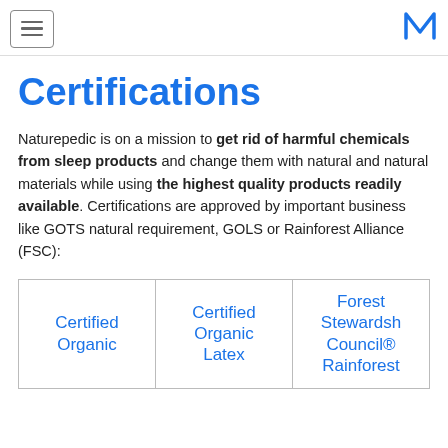[hamburger menu] [M logo]
Certifications
Naturepedic is on a mission to get rid of harmful chemicals from sleep products and change them with natural and natural materials while using the highest quality products readily available. Certifications are approved by important business like GOTS natural requirement, GOLS or Rainforest Alliance (FSC):
|  |  |  |
| --- | --- | --- |
| Certified Organic | Certified Organic Latex | Forest Stewardship Council® Rainforest... |